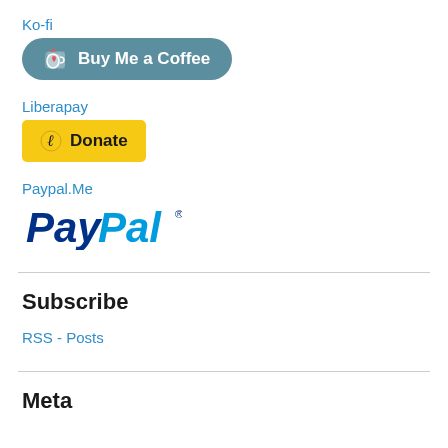Ko-fi
[Figure (illustration): Ko-fi Buy Me a Coffee button — teal rounded rectangle with coffee cup icon and text 'Buy Me a Coffee']
Liberapay
[Figure (illustration): Liberapay Donate button — yellow rectangle with Liberapay logo icon and text 'Donate']
Paypal.Me
[Figure (logo): PayPal logo in blue italic bold text]
Subscribe
RSS - Posts
Meta